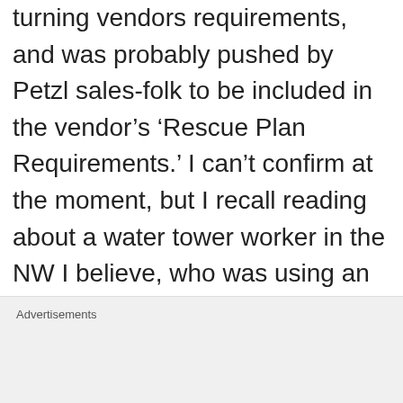turning vendors requirements, and was probably pushed by Petzl sales-folk to be included in the vendor's 'Rescue Plan Requirements.' I can't confirm at the moment, but I recall reading about a water tower worker in the NW I believe, who was using an I'D to rappel,
Advertisements